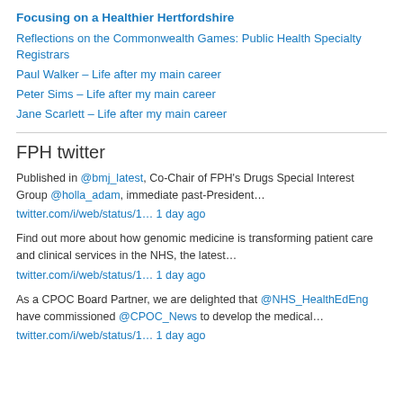Focusing on a Healthier Hertfordshire
Reflections on the Commonwealth Games: Public Health Specialty Registrars
Paul Walker – Life after my main career
Peter Sims – Life after my main career
Jane Scarlett – Life after my main career
FPH twitter
Published in @bmj_latest, Co-Chair of FPH's Drugs Special Interest Group @holla_adam, immediate past-President… twitter.com/i/web/status/1… 1 day ago
Find out more about how genomic medicine is transforming patient care and clinical services in the NHS, the latest… twitter.com/i/web/status/1… 1 day ago
As a CPOC Board Partner, we are delighted that @NHS_HealthEdEng have commissioned @CPOC_News to develop the medical… twitter.com/i/web/status/1… 1 day ago